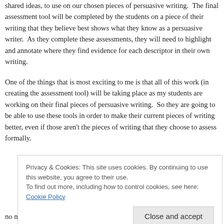shared ideas, to use on our chosen pieces of persuasive writing.  The final assessment tool will be completed by the students on a piece of their writing that they believe best shows what they know as a persuasive writer.  As they complete these assessments, they will need to highlight and annotate where they find evidence for each descriptor in their own writing.
One of the things that is most exciting to me is that all of this work (in creating the assessment tool) will be taking place as my students are working on their final pieces of persuasive writing.  So they are going to be able to use these tools in order to make their current pieces of writing better, even if those aren't the pieces of writing that they choose to assess formally.
Privacy & Cookies: This site uses cookies. By continuing to use this website, you agree to their use.
To find out more, including how to control cookies, see here: Cookie Policy
no matter what it looks like, no matter how much I wish that it